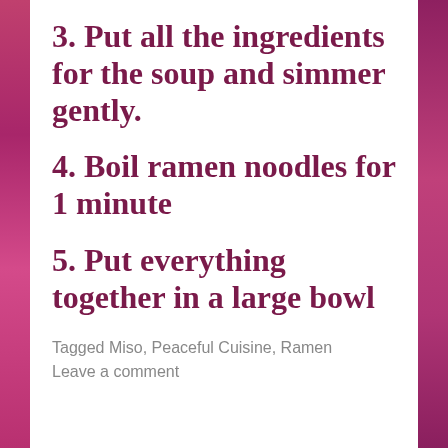3. Put all the ingredients for the soup and simmer gently.
4. Boil ramen noodles for 1 minute
5. Put everything together in a large bowl
Tagged Miso, Peaceful Cuisine, Ramen
Leave a comment